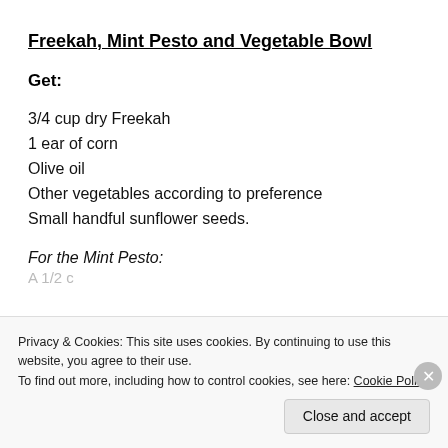Freekah, Mint Pesto and Vegetable Bowl
Get:
3/4 cup dry Freekah
1 ear of corn
Olive oil
Other vegetables according to preference
Small handful sunflower seeds.
For the Mint Pesto:
Privacy & Cookies: This site uses cookies. By continuing to use this website, you agree to their use. To find out more, including how to control cookies, see here: Cookie Policy
Close and accept